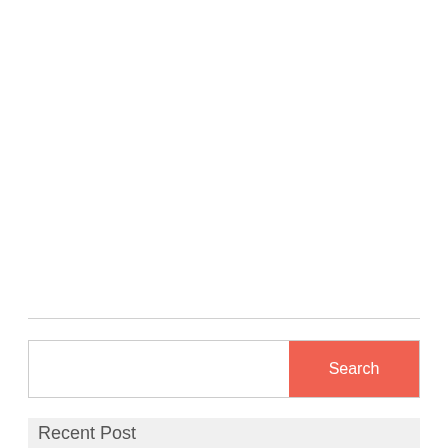[Figure (other): Horizontal divider line separating content sections]
[Figure (other): Search bar with text input field and coral/red Search button]
Recent Post